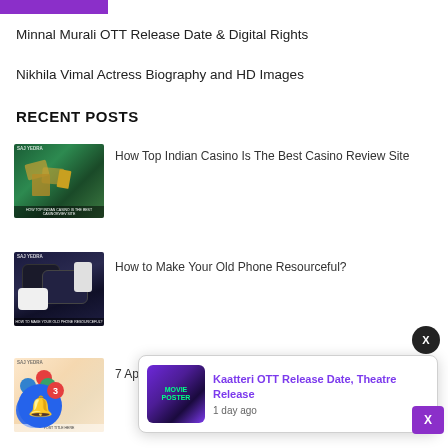[Figure (logo): Purple/magenta banner strip at top left]
Minnal Murali OTT Release Date & Digital Rights
Nikhila Vimal Actress Biography and HD Images
RECENT POSTS
[Figure (photo): Casino table with cards and hand]
How Top Indian Casino Is The Best Casino Review Site
[Figure (photo): Old phones/tech devices on blue background]
How to Make Your Old Phone Resourceful?
[Figure (illustration): Colorful social media icons/circles illustration]
7 Ap...
[Figure (other): Notification popup: Kaatteri OTT Release Date, Theatre Release - 1 day ago, with movie poster thumbnail]
[Figure (other): Dark circular X close button]
[Figure (other): Notification bell with badge showing 3]
[Figure (other): Purple X close button bottom right]